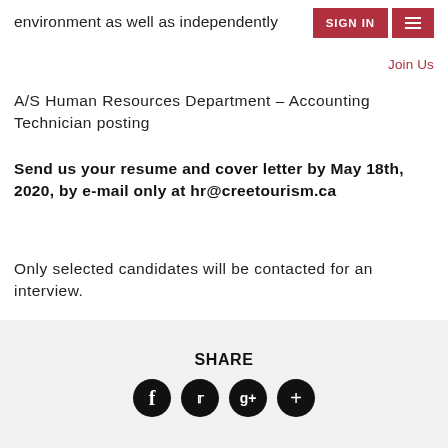environment as well as independently
Join Us
A/S Human Resources Department – Accounting Technician posting
Send us your resume and cover letter by May 18th, 2020, by e-mail only at hr@creetourism.ca
Only selected candidates will be contacted for an interview.
SHARE